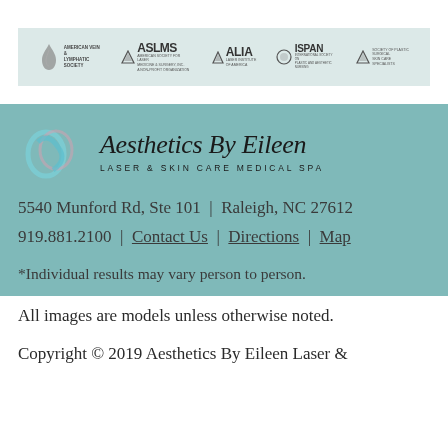[Figure (logo): Row of association logos: American Vein & Lymphatic Society, ASLMS, ALIA, ISPAN, Society of Plastic Surgical Skin Care Specialists]
[Figure (logo): Aesthetics By Eileen Laser & Skin Care Medical Spa logo with decorative script letters 'ae']
5540 Munford Rd, Ste 101  |  Raleigh, NC 27612
919.881.2100  |  Contact Us  |  Directions  |  Map
*Individual results may vary person to person.
All images are models unless otherwise noted.
Copyright © 2019 Aesthetics By Eileen Laser &